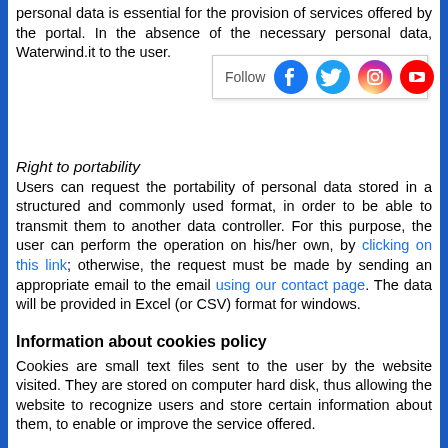personal data is essential for the provision of services offered by the portal. In the absence of the necessary personal data, Waterwind.it to the user.
[Figure (other): Social media follow bar with Facebook, Twitter, Instagram, and YouTube icons]
Right to portability
Users can request the portability of personal data stored in a structured and commonly used format, in order to be able to transmit them to another data controller. For this purpose, the user can perform the operation on his/her own, by clicking on this link; otherwise, the request must be made by sending an appropriate email to the email using our contact page. The data will be provided in Excel (or CSV) format for windows.
Information about cookies policy
Cookies are small text files sent to the user by the website visited. They are stored on computer hard disk, thus allowing the website to recognize users and store certain information about them, to enable or improve the service offered.